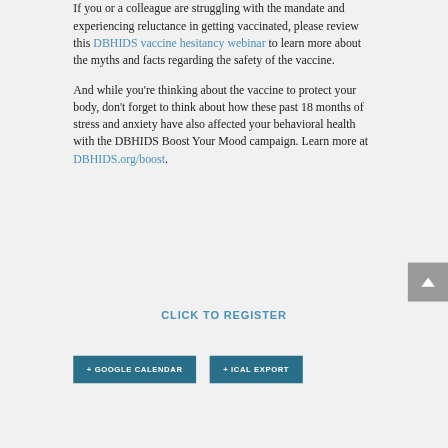If you or a colleague are struggling with the mandate and experiencing reluctance in getting vaccinated, please review this DBHIDS vaccine hesitancy webinar to learn more about the myths and facts regarding the safety of the vaccine.
And while you're thinking about the vaccine to protect your body, don't forget to think about how these past 18 months of stress and anxiety have also affected your behavioral health with the DBHIDS Boost Your Mood campaign. Learn more at DBHIDS.org/boost.
CLICK TO REGISTER
+ GOOGLE CALENDAR
+ ICAL EXPORT